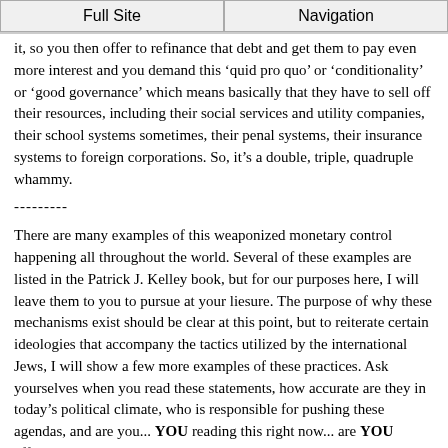Full Site | Navigation
it, so you then offer to refinance that debt and get them to pay even more interest and you demand this ‘quid pro quo’ or ‘conditionality’ or ‘good governance’ which means basically that they have to sell off their resources, including their social services and utility companies, their school systems sometimes, their penal systems, their insurance systems to foreign corporations. So, it’s a double, triple, quadruple whammy.
---------
There are many examples of this weaponized monetary control happening all throughout the world. Several of these examples are listed in the Patrick J. Kelley book, but for our purposes here, I will leave them to you to pursue at your liesure. The purpose of why these mechanisms exist should be clear at this point, but to reiterate certain ideologies that accompany the tactics utilized by the international Jews, I will show a few more examples of these practices. Ask yourselves when you read these statements, how accurate are they in today’s political climate, who is responsible for pushing these agendas, and are you... YOU reading this right now... are YOU affected by these tactics?